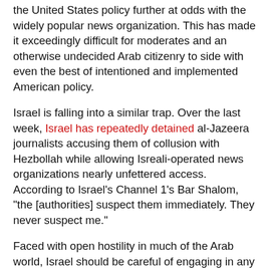the United States policy further at odds with the widely popular news organization. This has made it exceedingly difficult for moderates and an otherwise undecided Arab citizenry to side with even the best of intentioned and implemented American policy.
Israel is falling into a similar trap. Over the last week, Israel has repeatedly detained al-Jazeera journalists accusing them of collusion with Hezbollah while allowing Isreali-operated news organizations nearly unfettered access. According to Israel's Channel 1's Bar Shalom, "the [authorities] suspect them immediately. They never suspect me."
Faced with open hostility in much of the Arab world, Israel should be careful of engaging in any activities that enhance the already rife perception that it is engaging in information control and/or a propaganda campaign against Hezbollah. Regardless of the truthfulness of their accusation, many in the Arab world will hear of the detainment of al-Jazeera crews as a reason to discredit any and all information they receive from Israeli sources about the conflict. Denying al-